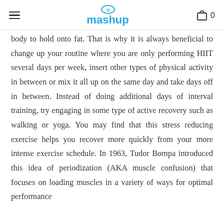mashup
body to hold onto fat. That is why it is always beneficial to change up your routine where you are only performing HIIT several days per week, insert other types of physical activity in between or mix it all up on the same day and take days off in between. Instead of doing additional days of interval training, try engaging in some type of active recovery such as walking or yoga. You may find that this stress reducing exercise helps you recover more quickly from your more intense exercise schedule. In 1963, Tudor Bompa introduced this idea of periodization (AKA muscle confusion) that focuses on loading muscles in a variety of ways for optimal performance